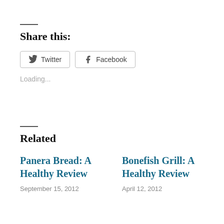Share this:
Twitter  Facebook
Loading...
Related
Panera Bread: A Healthy Review
September 15, 2012
Bonefish Grill: A Healthy Review
April 12, 2012